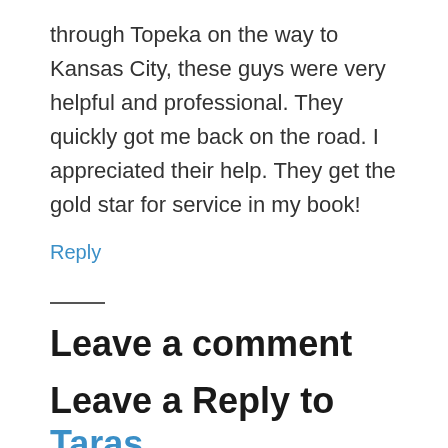through Topeka on the way to Kansas City, these guys were very helpful and professional. They quickly got me back on the road. I appreciated their help. They get the gold star for service in my book!
Reply
Leave a comment
Leave a Reply to Taras